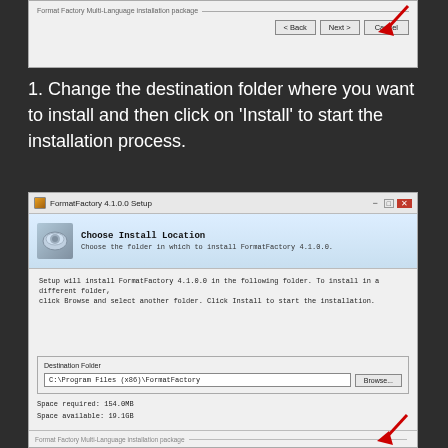[Figure (screenshot): Top portion of Format Factory Multi-Language installation package setup wizard showing Back, Next, and Cancel buttons with a red arrow pointing to the Next button]
Change the destination folder where you want to install and then click on 'Install' to start the installation process.
[Figure (screenshot): FormatFactory 4.1.0.0 Setup dialog - Choose Install Location screen showing destination folder C:\Program Files (x86)\FormatFactory, Browse button, space required 154.0MB, space available 19.1GB, and a red arrow pointing to the Next button at the bottom]